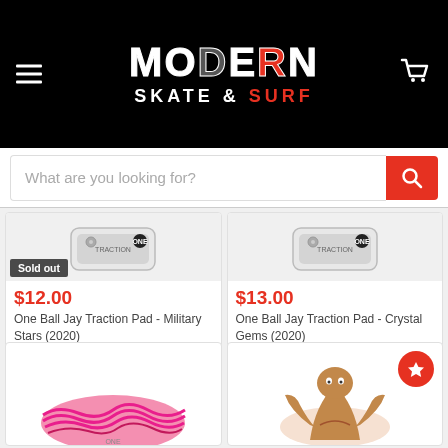Modern Skate & Surf
What are you looking for?
[Figure (screenshot): Traction pad product image - Military Stars, sold out badge visible]
$12.00
One Ball Jay Traction Pad - Military Stars (2020)
[Figure (screenshot): Traction pad product image - Crystal Gems]
$13.00
One Ball Jay Traction Pad - Crystal Gems (2020)
[Figure (photo): Pink wavy traction pad bottom row left]
[Figure (photo): Illustrated character traction pad bottom row right, with wishlist star button]